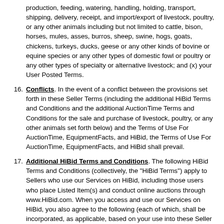production, feeding, watering, handling, holding, transport, shipping, delivery, receipt, and import/export of livestock, poultry, or any other animals including but not limited to cattle, bison, horses, mules, asses, burros, sheep, swine, hogs, goats, chickens, turkeys, ducks, geese or any other kinds of bovine or equine species or any other types of domestic fowl or poultry or any other types of specialty or alternative livestock; and (x) your User Posted Terms.
16. Conflicts. In the event of a conflict between the provisions set forth in these Seller Terms (including the additional HiBid Terms and Conditions and the additional AuctionTime Terms and Conditions for the sale and purchase of livestock, poultry, or any other animals set forth below) and the Terms of Use For AuctionTime, EquipmentFacts, and HiBid, the Terms of Use For AuctionTime, EquipmentFacts, and HiBid shall prevail.
17. Additional HiBid Terms and Conditions. The following HiBid Terms and Conditions (collectively, the "HiBid Terms") apply to Sellers who use our Services on HiBid, including those users who place Listed Item(s) and conduct online auctions through www.HiBid.com. When you access and use our Services on HiBid, you also agree to the following (each of which, shall be incorporated, as applicable, based on your use into these Seller